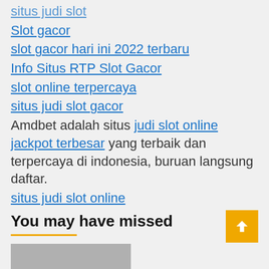situs judi slot
Slot gacor
slot gacor hari ini 2022 terbaru
Info Situs RTP Slot Gacor
slot online terpercaya
situs judi slot gacor
Amdbet adalah situs judi slot online jackpot terbesar yang terbaik dan terpercaya di indonesia, buruan langsung daftar.
situs judi slot online
Sabung Ayam SV388
slot online deposit pulsa
toto8et
https://www.englishsikho.com/
You may have missed
[Figure (photo): Thumbnail image partially visible at bottom]